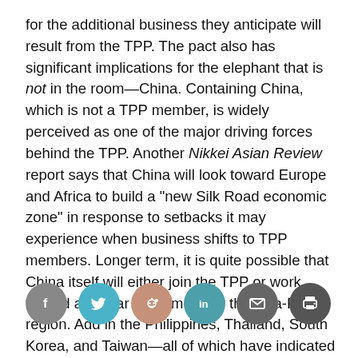for the additional business they anticipate will result from the TPP. The pact also has significant implications for the elephant that is not in the room—China. Containing China, which is not a TPP member, is widely perceived as one of the major driving forces behind the TPP. Another Nikkei Asian Review report says that China will look toward Europe and Africa to build a "new Silk Road economic zone" in response to setbacks it may experience when business shifts to TPP members. Longer term, it is quite possible that China itself will either join the TPP or work toward a similar agreement for the Asia-Pacific region. Add in the Philippines, Thailand, South Korea, and Taiwan—all of which have indicated interest in such a deal—and the implications for global supply chains become as broad as the Pacific itself.
[Figure (other): Social sharing icons row: Facebook (grey circle), Twitter (teal circle), Reddit (salmon circle), LinkedIn (teal circle), Email (dark grey circle), Print (dark grey circle)]